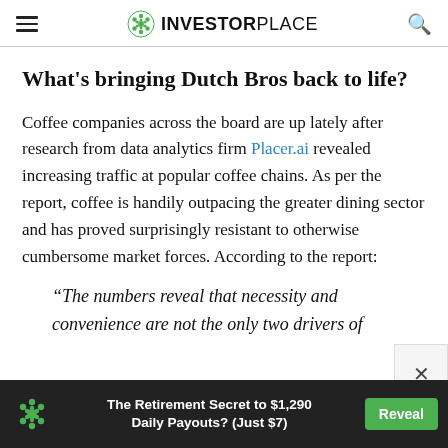INVESTORPLACE
What's bringing Dutch Bros back to life?
Coffee companies across the board are up lately after research from data analytics firm Placer.ai revealed increasing traffic at popular coffee chains. As per the report, coffee is handily outpacing the greater dining sector and has proved surprisingly resistant to otherwise cumbersome market forces. According to the report:
“The numbers reveal that necessity and convenience are not the only two drivers of
[Figure (other): Advertisement banner: The Retirement Secret to $1,290 Daily Payouts? (Just $7) with Reveal button]